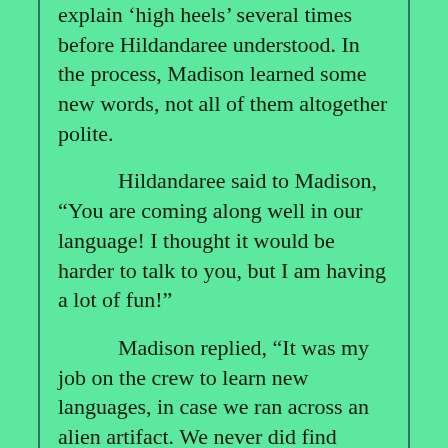explain ‘high heels’ several times before Hildandaree understood. In the process, Madison learned some new words, not all of them altogether polite.
Hildandaree said to Madison, “You are coming along well in our language! I thought it would be harder to talk to you, but I am having a lot of fun!”
Madison replied, “It was my job on the crew to learn new languages, in case we ran across an alien artifact. We never did find anything more interesting than lifeless rocks. I must admit, I expected language to change back here on Earth, but not to find a completely new one! Where did this language come from?”
Hildandaree replied, “The Purnarkat taught it to us. We all speak the same language now, all the world!”